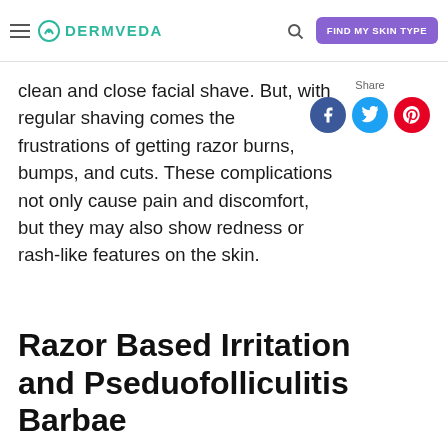DERMVEDA — FIND MY SKIN TYPE
clean and close facial shave. But, with regular shaving comes the frustrations of getting razor burns, bumps, and cuts. These complications not only cause pain and discomfort, but they may also show redness or rash-like features on the skin.
[Figure (infographic): Share buttons: Facebook (blue circle), Twitter (light blue circle), Pinterest (red circle) with 'Share' label above]
Razor Based Irritation and Pseduofolliculitis Barbae